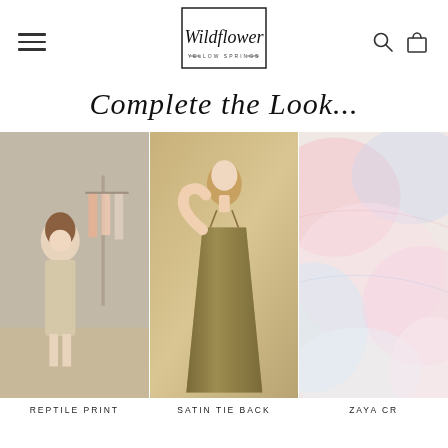Wildflower Yellow Springs — navigation header with hamburger menu, logo, search and cart icons
Complete the Look...
[Figure (photo): Woman in a beige slip dress standing in a boutique clothing store, clothing racks visible in background]
REPTILE PRINT
[Figure (photo): Woman in an olive/khaki satin slip dress with tie back, against a neutral background]
SATIN TIE BACK
[Figure (photo): Pastel tie-dye or watercolor pattern fabric in pink and blue tones, partially visible at right edge]
ZAYA CR